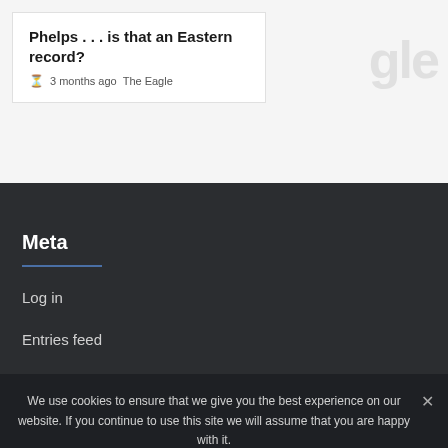Phelps . . . is that an Eastern record?
3 months ago  The Eagle
Meta
Log in
Entries feed
Comments feed
We use cookies to ensure that we give you the best experience on our website. If you continue to use this site we will assume that you are happy with it.
Ok   Privacy policy